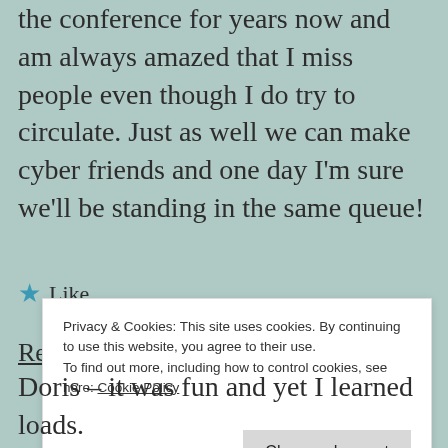the conference for years now and am always amazed that I miss people even though I do try to circulate. Just as well we can make cyber friends and one day I'm sure we'll be standing in the same queue!
★ Like
Reply
Privacy & Cookies: This site uses cookies. By continuing to use this website, you agree to their use. To find out more, including how to control cookies, see here: Cookie Policy
Close and accept
Doris – it was fun and yet I learned loads.